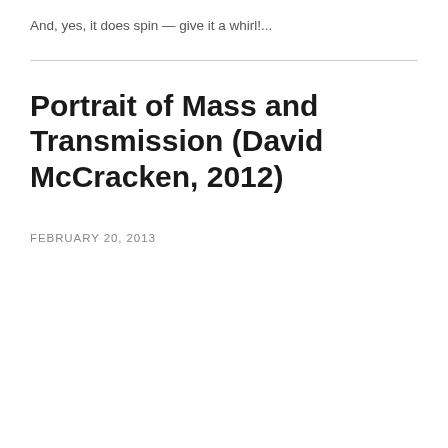And, yes, it does spin — give it a whirl!...
Portrait of Mass and Transmission (David McCracken, 2012)
FEBRUARY 20, 2013